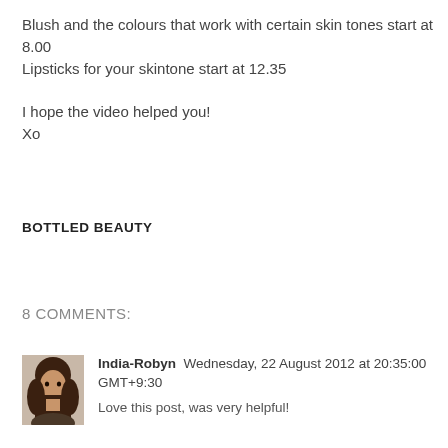Blush and the colours that work with certain skin tones start at 8.00
Lipsticks for your skintone start at 12.35

I hope the video helped you!
Xo
BOTTLED BEAUTY
8 COMMENTS:
India-Robyn  Wednesday, 22 August 2012 at 20:35:00 GMT+9:30
Love this post, was very helpful!